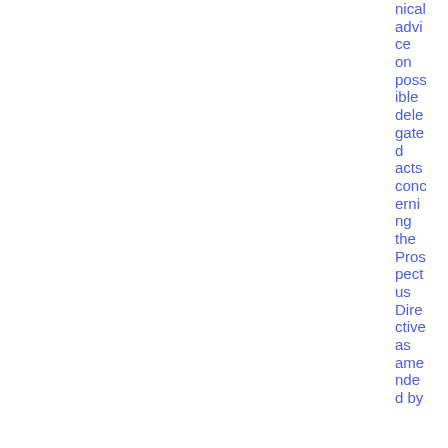nical advice on possible delegated acts concerning the Prospectus Directive as amended by
e
32 MB